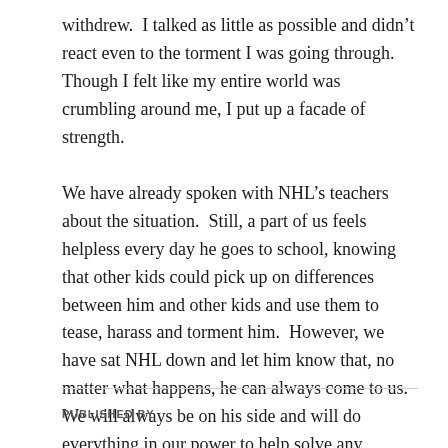withdrew.  I talked as little as possible and didn't react even to the torment I was going through.  Though I felt like my entire world was crumbling around me, I put up a facade of strength.
We have already spoken with NHL's teachers about the situation.  Still, a part of us feels helpless every day he goes to school, knowing that other kids could pick up on differences between him and other kids and use them to tease, harass and torment him.  However, we have sat NHL down and let him know that, no matter what happens, he can always come to us.  We will always be on his side and will do everything in our power to help solve any problems he encounters.
PUBLISHED BY